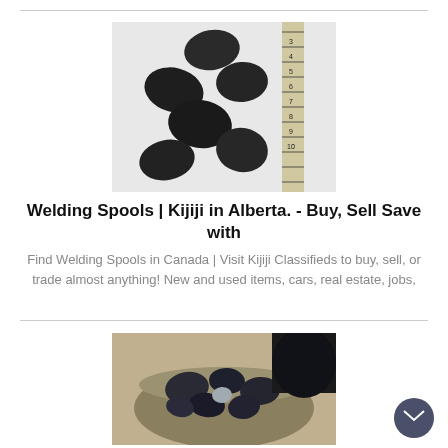[Figure (photo): Several dark irregular rock/metal chunks arranged on a white background next to a ruler showing measurements from 3 to 10]
Welding Spools | Kijiji in Alberta. - Buy, Sell Save with
Find Welding Spools in Canada | Visit Kijiji Classifieds to buy, sell, or trade almost anything! New and used items, cars, real estate, jobs,
[Figure (photo): A burlap or canvas bag filled with dark irregular chunks of metal or coal/slag material]